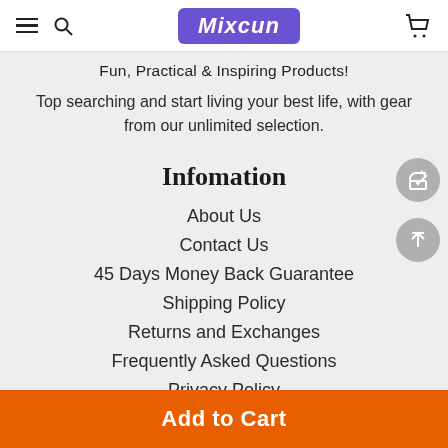Mixcun
Fun, Practical & Inspiring Products!
Top searching and start living your best life, with gear from our unlimited selection.
Infomation
About Us
Contact Us
45 Days Money Back Guarantee
Shipping Policy
Returns and Exchanges
Frequently Asked Questions
Privacy Policy
Add to Cart